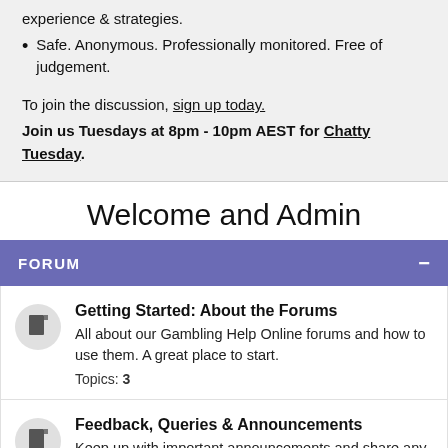experience & strategies.
Safe. Anonymous. Professionally monitored. Free of judgement.
To join the discussion, sign up today.
Join us Tuesdays at 8pm - 10pm AEST for Chatty Tuesday.
Welcome and Admin
FORUM
Getting Started: About the Forums
All about our Gambling Help Online forums and how to use them. A great place to start.
Topics: 3
Feedback, Queries & Announcements
Keep up with important announcements and share any feedback, questions and suggestions for the